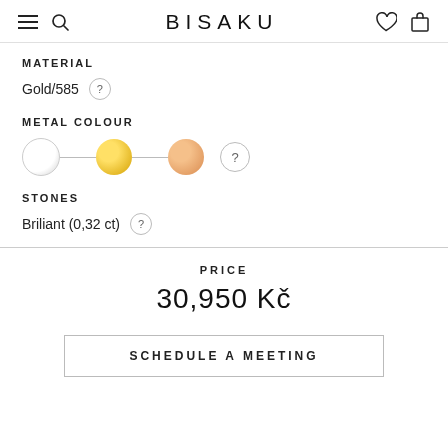BISAKU
MATERIAL
Gold/585 ?
METAL COLOUR
[Figure (infographic): Three metal colour swatches: white/silver circle, yellow gold circle, rose gold circle, connected by lines, with a question mark badge.]
STONES
Briliant (0,32 ct) ?
PRICE
30,950 Kč
SCHEDULE A MEETING